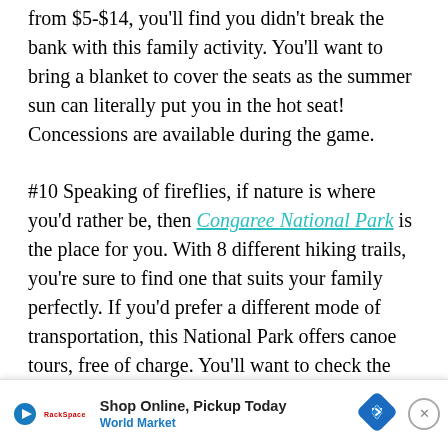from $5-$14, you'll find you didn't break the bank with this family activity. You'll want to bring a blanket to cover the seats as the summer sun can literally put you in the hot seat! Concessions are available during the game.
#10 Speaking of fireflies, if nature is where you'd rather be, then Congaree National Park is the place for you. With 8 different hiking trails, you're sure to find one that suits your family perfectly. If you'd prefer a different mode of transportation, this National Park offers canoe tours, free of charge. You'll want to check the website for dates and times, as well as to register as they are on a first come first serve basis. During the first couple weeks of May each year, fireflies come to this national park to mate. Watch the night sky come to life with synchronized fireflies flashing to their potential mates. While the synchronization only takes place a coup[le of nights, the fireflies are out nightly. When b[ug watching, bring a] bug
[Figure (other): Advertisement banner: Shop Online, Pickup Today - World Market, with play button icon, retailer logo, and blue diamond navigation icon on right side, and close (X) button.]